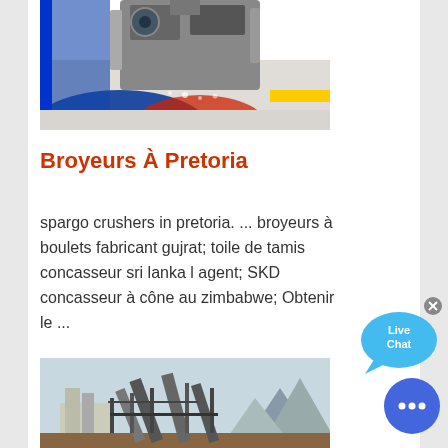[Figure (photo): Industrial crusher/grinder machinery with colorful floor markings (blue, red, yellow), top portion of image showing mechanical equipment]
Broyeurs À Pretoria
spargo crushers in pretoria. ... broyeurs à boulets fabricant gujrat; toile de tamis concasseur sri lanka l agent; SKD concasseur à cône au zimbabwe; Obtenir le ...
[Figure (photo): Industrial conveyor belt system and construction/mining equipment at an outdoor facility with mountains in background]